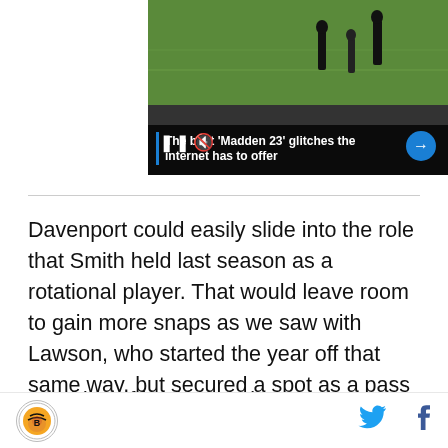[Figure (screenshot): Video player thumbnail showing football players on a field with video controls (pause, mute, next arrow buttons)]
The best ‘Madden 23’ glitches the internet has to offer
Davenport could easily slide into the role that Smith held last season as a rotational player. That would leave room to gain more snaps as we saw with Lawson, who started the year off that same way, but secured a spot as a pass rushing specialist due to his performance against the Packers.
The idea of having Dunlap, Lawson, Willis and Davenport...
Logo | Twitter | Facebook